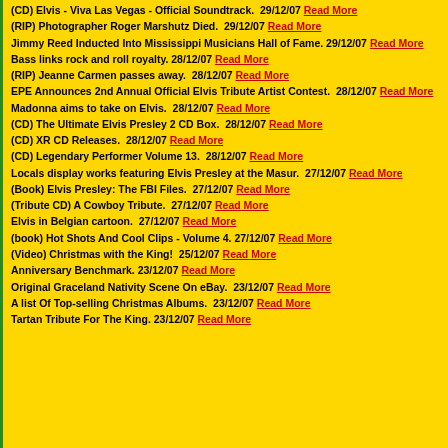(CD) Elvis - Viva Las Vegas - Official Soundtrack. 29/12/07 Read More
(RIP) Photographer Roger Marshutz Died. 29/12/07 Read More
Jimmy Reed Inducted Into Mississippi Musicians Hall of Fame. 29/12/07 Read More
Bass links rock and roll royalty. 28/12/07 Read More
(RIP) Jeanne Carmen passes away. 28/12/07 Read More
EPE Announces 2nd Annual Official Elvis Tribute Artist Contest. 28/12/07 Read More
Madonna aims to take on Elvis. 28/12/07 Read More
(CD) The Ultimate Elvis Presley 2 CD Box. 28/12/07 Read More
(CD) XR CD Releases. 28/12/07 Read More
(CD) Legendary Performer Volume 13. 28/12/07 Read More
Locals display works featuring Elvis Presley at the Masur. 27/12/07 Read More
(Book) Elvis Presley: The FBI Files. 27/12/07 Read More
(Tribute CD) A Cowboy Tribute. 27/12/07 Read More
Elvis in Belgian cartoon. 27/12/07 Read More
(book) Hot Shots And Cool Clips - Volume 4. 27/12/07 Read More
(Video) Christmas with the King! 25/12/07 Read More
Anniversary Benchmark. 23/12/07 Read More
Original Graceland Nativity Scene On eBay. 23/12/07 Read More
A list Of Top-selling Christmas Albums. 23/12/07 Read More
Tartan Tribute For The King. 23/12/07 Read More